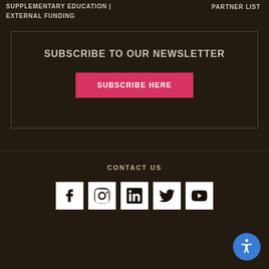SUPPLEMENTARY EDUCATION | EXTERNAL FUNDING   PARTNER LIST
SUBSCRIBE TO OUR NEWSLETTER
SUBSCRIBE HERE
CONTACT US
[Figure (infographic): Social media icons: Facebook, Instagram, LinkedIn, Twitter, YouTube in white square boxes on dark background, plus a circular blue accessibility icon in the bottom right.]